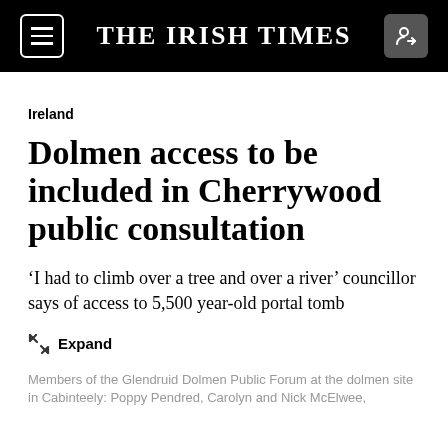THE IRISH TIMES
Ireland
Dolmen access to be included in Cherrywood public consultation
‘I had to climb over a tree and over a river’ councillor says of access to 5,500 year-old portal tomb
Expand
Members of the Glendruid Dolmen Public Forum at the dolmen site in Cabinteely: Poppy Pendred, Carolyn and Nick McElwee,